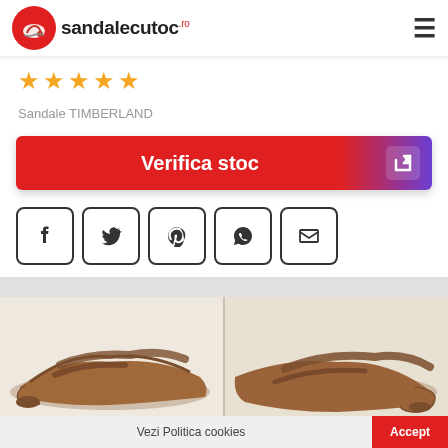sandalecutoc.ro
★★★★★
Sandale TIMBERLAND
Verifica stoc
[Figure (screenshot): Social share buttons row: Facebook, Twitter, Pinterest, WhatsApp, Email]
[Figure (photo): Two brown leather Timberland sandals side by side on a light background]
Vezi Politica cookies   Accept